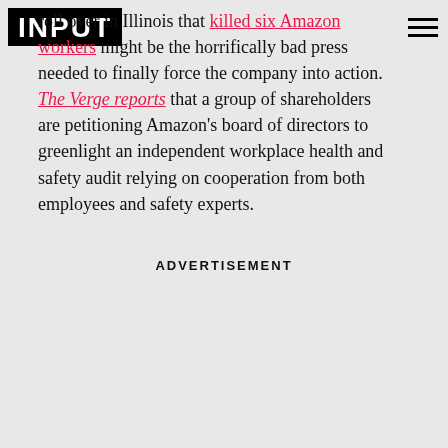INPUT
roll over in Illinois that killed six Amazon workers might be the horrifically bad press needed to finally force the company into action. The Verge reports that a group of shareholders are petitioning Amazon's board of directors to greenlight an independent workplace health and safety audit relying on cooperation from both employees and safety experts.
ADVERTISEMENT